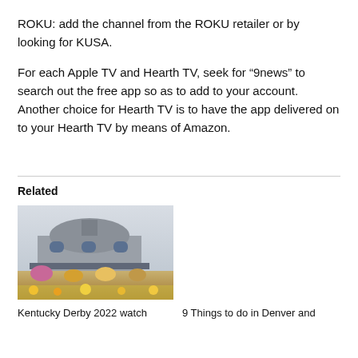ROKU: add the channel from the ROKU retailer or by looking for KUSA.
For each Apple TV and Hearth TV, seek for “9news” to search out the free app so as to add to your account. Another choice for Hearth TV is to have the app delivered on to your Hearth TV by means of Amazon.
Related
[Figure (photo): Photo of a large domed building with people in the foreground, appearing to be at an outdoor event with colorful flowers.]
Kentucky Derby 2022 watch
9 Things to do in Denver and